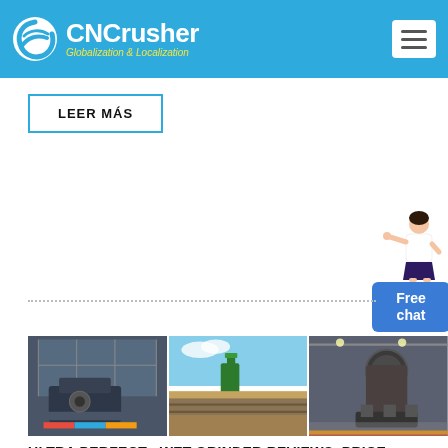CNCrusher Globalization & Localization
LEER MÁS
[Figure (photo): Free chat widget with person illustration and blue chat bubble]
[Figure (photo): Three industrial machinery photos side by side: crusher machine in hangar, open-air mining site, and large mill in factory]
ULTRA PERFECT+ WET GRINDER REVIEWS, PRICE, SERVICE CENTRE ...
Hello, we are discussing about ultra perfect + wet grinder, and